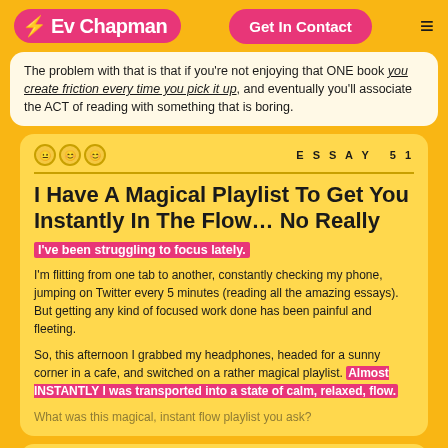Ev Chapman | Get In Contact
The problem with that is that if you're not enjoying that ONE book you create friction every time you pick it up, and eventually you'll associate the ACT of reading with something that is boring.
ESSAY 51
I Have A Magical Playlist To Get You Instantly In The Flow… No Really
I've been struggling to focus lately.
I'm flitting from one tab to another, constantly checking my phone, jumping on Twitter every 5 minutes (reading all the amazing essays). But getting any kind of focused work done has been painful and fleeting.
So, this afternoon I grabbed my headphones, headed for a sunny corner in a cafe, and switched on a rather magical playlist. Almost INSTANTLY I was transported into a state of calm, relaxed, flow.
What was this magical, instant flow playlist you ask?
ESSAY 50
The Truth About Constraints & Why They Will Set You Free
Creativity thrives in constraints.
As creatives and creators, we often balk at that idea. We want wide open